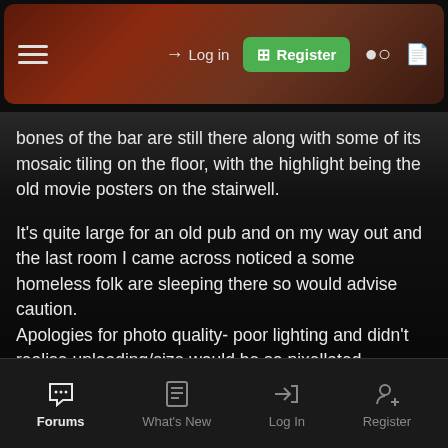Log in | Register (navigation bar)
bones of the bar are still there along with some of its mosaic tiling on the floor, with the highlight being the old movie posters on the stairwell.
It's quite large for an old pub and on my way out and the last room I came across noticed a some homeless folk are sleeping there so would advise caution.
Apologies for photo quality- poor lighting and didn't realise uploading/size would be so pixellated.
From the mean streets:
[Figure (photo): Broken image placeholder showing image id 877130]
Forums | What's New | Log In | Register